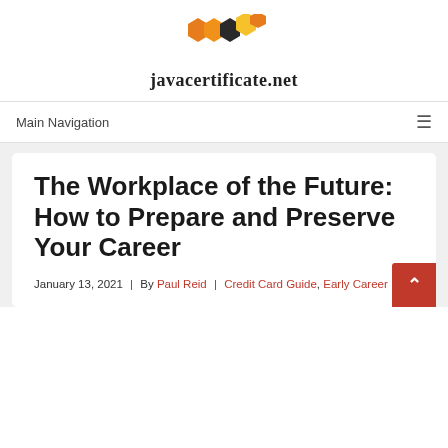[Figure (logo): javacertificate.net logo with hexagon honeycomb graphic in orange, dark orange, and black, above the site name text]
Main Navigation
The Workplace of the Future: How to Prepare and Preserve Your Career
January 13, 2021 | By Paul Reid | Credit Card Guide, Early Career